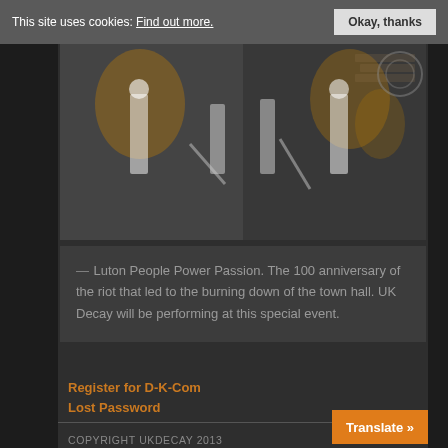This site uses cookies: Find out more. | Okay, thanks
[Figure (photo): Black and white photo with orange/gold color highlights showing a group of people, appears to be a band or performers, mirrored/duplicated composition]
— Luton People Power Passion. The 100 anniversary of the riot that led to the burning down of the town hall. UK Decay will be performing at this special event.
Register for D-K-Com
Lost Password
COPYRIGHT UKDECAY 2013